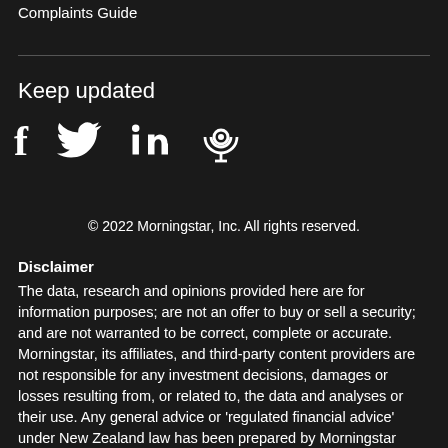Complaints Guide
Keep updated
[Figure (other): Social media icons: Facebook, Twitter, LinkedIn, Podcast]
© 2022 Morningstar, Inc. All rights reserved.
Disclaimer
The data, research and opinions provided here are for information purposes; are not an offer to buy or sell a security; and are not warranted to be correct, complete or accurate. Morningstar, its affiliates, and third-party content providers are not responsible for any investment decisions, damages or losses resulting from, or related to, the data and analyses or their use. Any general advice or 'regulated financial advice' under New Zealand law has been prepared by Morningstar Australasia Pty Ltd (ABN: 95 090 665 544, AFSL: 240892) and/or Morningstar Research Ltd, subsidiaries of Morningstar